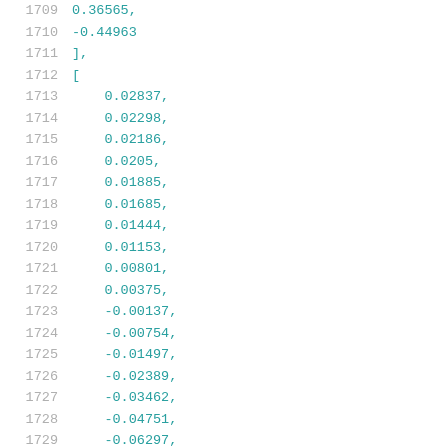1709    0.36565,
1710    -0.44963
1711    ],
1712    [
1713        0.02837,
1714        0.02298,
1715        0.02186,
1716        0.0205,
1717        0.01885,
1718        0.01685,
1719        0.01444,
1720        0.01153,
1721        0.00801,
1722        0.00375,
1723        -0.00137,
1724        -0.00754,
1725        -0.01497,
1726        -0.02389,
1727        -0.03462,
1728        -0.04751,
1729        -0.06297,
1730        -0.08155,